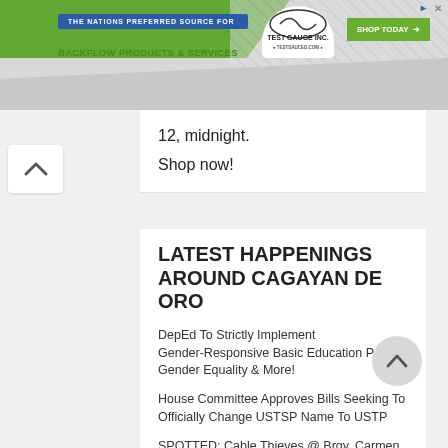[Figure (screenshot): Advertisement banner for Test Gauge Inc. - backflow products and services with 'Shop Today' button]
12, midnight.
Shop now!
LATEST HAPPENINGS AROUND CAGAYAN DE ORO
DepEd To Strictly Implement Gender-Responsive Basic Education Policy: Gender Equality & More!
House Committee Approves Bills Seeking To Officially Change USTSP Name To USTP
SPOTTED: Cable Thieves @ Brgy. Carmen CDO
Peace & Order On Top Of Mayor Klarex Uy's Governance Agenda